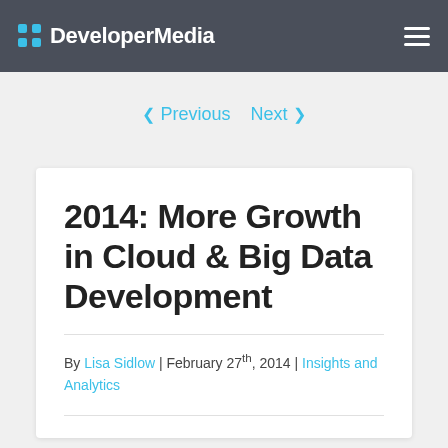DeveloperMedia
< Previous   Next >
2014: More Growth in Cloud & Big Data Development
By Lisa Sidlow | February 27th, 2014 | Insights and Analytics